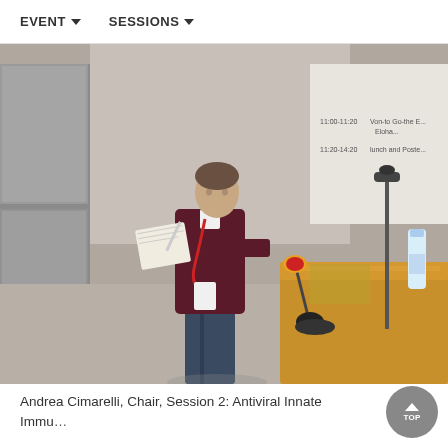EVENT  SESSIONS
[Figure (photo): A man wearing a dark maroon sweater with a red conference lanyard stands at a wooden lecture podium in a conference room, holding a notepad and pen. A microphone with a red/yellow foam cover is on the desk in front of him. A projection screen is visible in the background showing a schedule. A water bottle is visible on the right side of the podium.]
Andrea Cimarelli, Chair, Session 2: Antiviral Innate Immu...